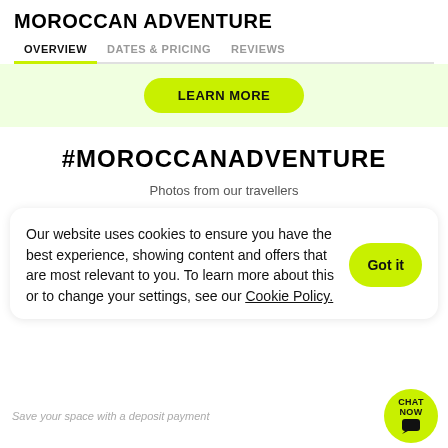MOROCCAN ADVENTURE
OVERVIEW   DATES & PRICING   REVIEWS
LEARN MORE
#MOROCCANADVENTURE
Photos from our travellers
Our website uses cookies to ensure you have the best experience, showing content and offers that are most relevant to you. To learn more about this or to change your settings, see our Cookie Policy.
Got it
Save your space with a deposit payment
CHAT NOW